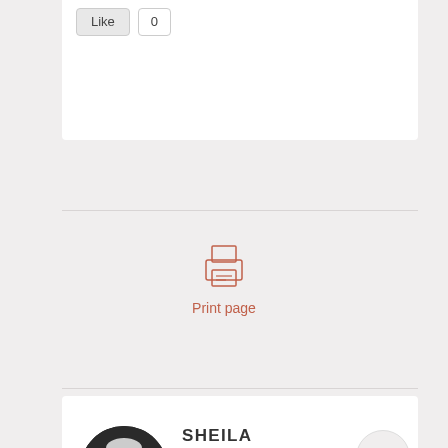[Figure (other): Like button with count 0]
[Figure (other): Print page icon (printer outline in salmon/red color)]
Print page
[Figure (photo): Circular avatar photo of Sheila, a woman with glasses and white/dark hair]
SHEILA
Posted at 19:38h, 22 March REPLY